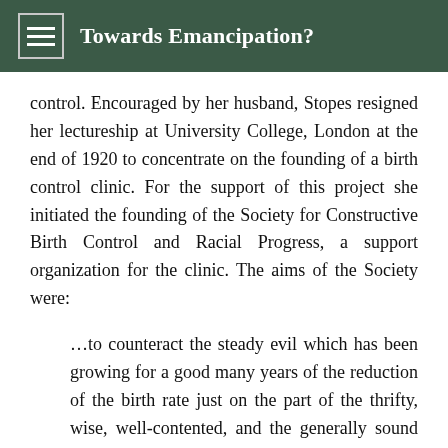Towards Emancipation?
control. Encouraged by her husband, Stopes resigned her lectureship at University College, London at the end of 1920 to concentrate on the founding of a birth control clinic. For the support of this project she initiated the founding of the Society for Constructive Birth Control and Racial Progress, a support organization for the clinic. The aims of the Society were:
…to counteract the steady evil which has been growing for a good many years of the reduction of the birth rate just on the part of the thrifty, wise, well-contented, and the generally sound members of our community, and the reckless breeding from the C.3 end, and the semi-feebleminded, the careless, who are proportionately increasing in our community because